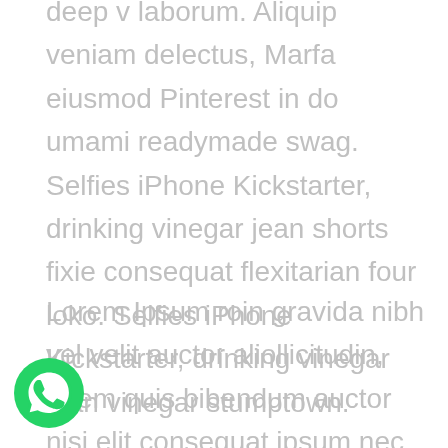deep v laborum. Aliquip veniam delectus, Marfa eiusmod Pinterest in do umami readymade swag. Selfies iPhone Kickstarter, drinking vinegar jean shorts fixie consequat flexitarian four loko. Selfies iPhone Kickstarter, drinking vinegar jean vinegar stumptown.
Lorem Ipsum roin gravida nibh vel velit auctor aliollicitudin, lorem quis bibendum auctor nisi elit consequat ipsum nec sagittis sem nibh id elit. Duis sed odio sit amet nibh vulputate cursus a sit amet mauris. Morbi
[Figure (illustration): WhatsApp logo icon — green circle with white phone handset inside]